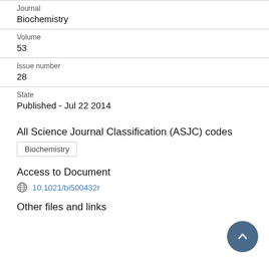Journal
Biochemistry
Volume
53
Issue number
28
State
Published - Jul 22 2014
All Science Journal Classification (ASJC) codes
Biochemistry
Access to Document
10.1021/bi500432r
Other files and links